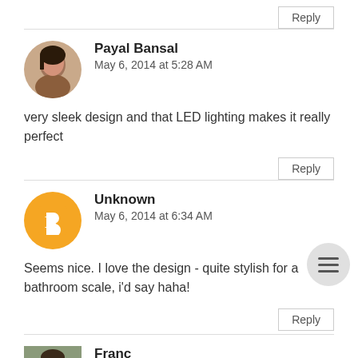Reply
Payal Bansal
May 6, 2014 at 5:28 AM
very sleek design and that LED lighting makes it really perfect
Reply
Unknown
May 6, 2014 at 6:34 AM
Seems nice. I love the design - quite stylish for a bathroom scale, i'd say haha!
Reply
Franc